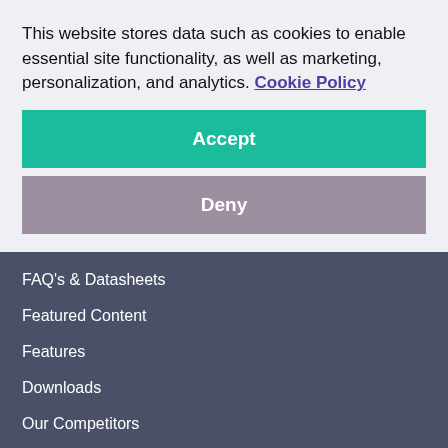This website stores data such as cookies to enable essential site functionality, as well as marketing, personalization, and analytics. Cookie Policy
Accept
Deny
FAQ's & Datasheets
Legal
Featured Content
Privacy Policy
Features
Terms of Use
Downloads
Our Competitors
Blog
Use Cases
Store